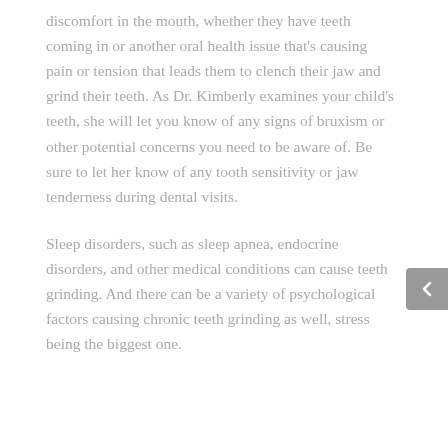discomfort in the mouth, whether they have teeth coming in or another oral health issue that's causing pain or tension that leads them to clench their jaw and grind their teeth. As Dr. Kimberly examines your child's teeth, she will let you know of any signs of bruxism or other potential concerns you need to be aware of. Be sure to let her know of any tooth sensitivity or jaw tenderness during dental visits.
Sleep disorders, such as sleep apnea, endocrine disorders, and other medical conditions can cause teeth grinding. And there can be a variety of psychological factors causing chronic teeth grinding as well, stress being the biggest one.